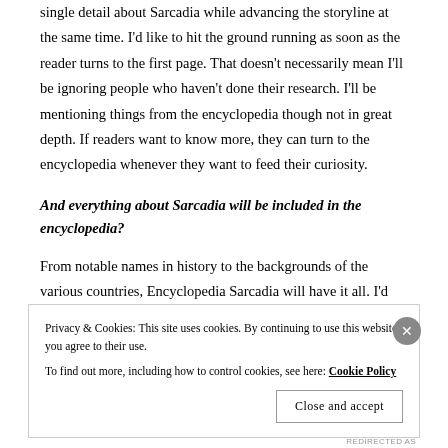single detail about Sarcadia while advancing the storyline at the same time. I'd like to hit the ground running as soon as the reader turns to the first page. That doesn't necessarily mean I'll be ignoring people who haven't done their research. I'll be mentioning things from the encyclopedia though not in great depth. If readers want to know more, they can turn to the encyclopedia whenever they want to feed their curiosity.
And everything about Sarcadia will be included in the encyclopedia?
From notable names in history to the backgrounds of the various countries, Encyclopedia Sarcadia will have it all. I'd say close to half of the information will be relevant to the storylines in the series while the
Privacy & Cookies: This site uses cookies. By continuing to use this website, you agree to their use.
To find out more, including how to control cookies, see here: Cookie Policy